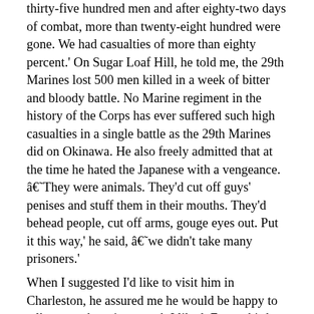thirty-five hundred men and after eighty-two days of combat, more than twenty-eight hundred were gone.  We had casualties of more than eighty percent.'  On Sugar Loaf Hill, he told me, the 29th Marines lost 500 men killed in a week of bitter and bloody battle. No Marine regiment in the history of the Corps has ever suffered such high casualties in a single battle as the 29th Marines did on Okinawa.  He also freely admitted that at the time he hated the Japanese with a vengeance. â€˜They were animals. They'd cut off guys' penises and stuff them in their mouths.  They'd behead people, cut off arms, gouge eyes out. Put it this way,' he said, â€˜we didn't take many prisoners.' When I suggested I'd like to visit him in Charleston, he assured me he would be happy to talk to me about it as much I liked.  Every third Wednesday in the month, he said, they had a 6th Marine Division Association reunion in Charleston – a small, informal lunch for members living in the area.  I'd be more than welcome to come along and meet some of the other guys too.  And if I needed a bed